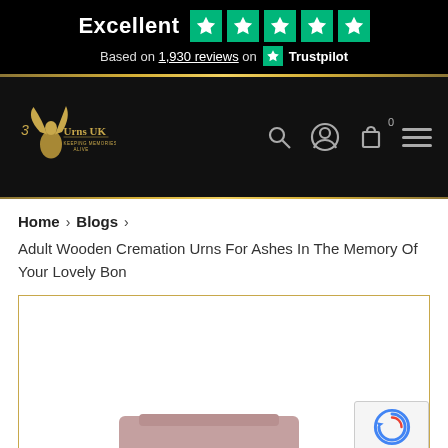[Figure (screenshot): Trustpilot rating banner showing 'Excellent' with 5 green stars and 'Based on 1,930 reviews on Trustpilot']
[Figure (logo): Urns UK logo - winged figure with text 'Urns UK Keeping Memories Alive' on black navigation bar with search, account, cart and menu icons]
Home > Blogs >
Adult Wooden Cremation Urns For Ashes In The Memory Of Your Lovely Bon
[Figure (photo): Partial image of a wooden cremation urn with mauve/pink lid visible at bottom, white background, gold border frame. reCAPTCHA widget in bottom right corner showing Privacy - Terms.]